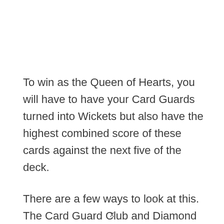To win as the Queen of Hearts, you will have to have your Card Guards turned into Wickets but also have the highest combined score of these cards against the next five of the deck.
There are a few ways to look at this. The Card Guard Club and Diamond suits are cheaper to play than the Heart or Spade suits, but they are weaker in power. I wouldn't stress too much about which
x